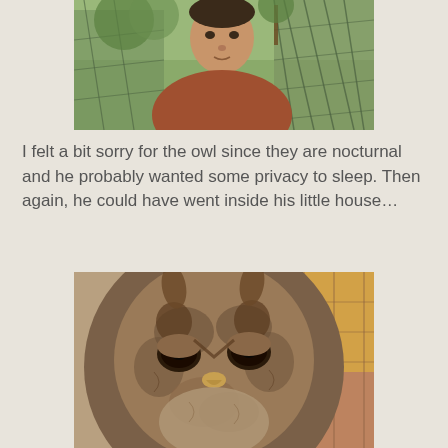[Figure (photo): A man wearing a reddish-brown t-shirt taking a selfie or being photographed near a wire/chain-link fence enclosure with trees visible in the background.]
I felt a bit sorry for the owl since they are nocturnal and he probably wanted some privacy to sleep. Then again, he could have went inside his little house…
[Figure (photo): A close-up photograph of an owl with distinctive brown/mottled feather patterning on its face, small dark eyes that appear half-closed or squinting, with a wire mesh enclosure visible in the background.]